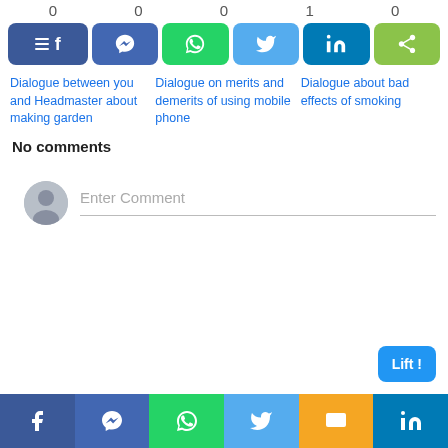0  0  0  1  0
[Figure (screenshot): Row of social share buttons: Facebook (dark blue), Messenger (blue), WhatsApp (green), Twitter (light blue), LinkedIn (teal), Share (green)]
Dialogue between you and Headmaster about making garden
Dialogue on merits and demerits of using mobile phone
Dialogue about bad effects of smoking
No comments
Enter Comment
[Figure (screenshot): Bottom navigation bar with Facebook, Messenger, WhatsApp, Twitter, SMS, LinkedIn icons]